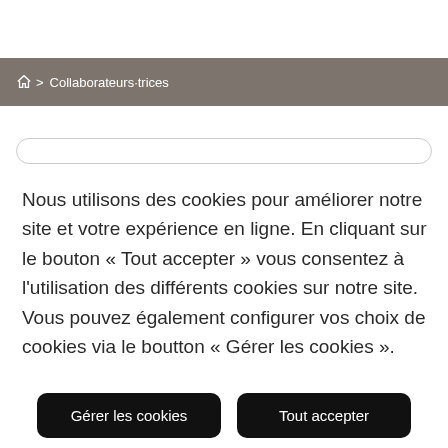⌂ > Collaborateurs·trices
Nous utilisons des cookies pour améliorer notre site et votre expérience en ligne. En cliquant sur le bouton « Tout accepter » vous consentez à l'utilisation des différents cookies sur notre site. Vous pouvez également configurer vos choix de cookies via le boutton « Gérer les cookies ».
Gérer les cookies
Tout accepter